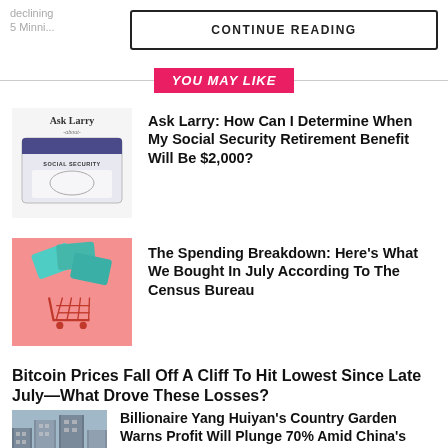declining
5 Minni...
CONTINUE READING
YOU MAY LIKE
[Figure (illustration): Ask Larry about Social Security card graphic]
Ask Larry: How Can I Determine When My Social Security Retirement Benefit Will Be $2,000?
[Figure (photo): Shopping cart with teal credit cards on pink background]
The Spending Breakdown: Here’s What We Bought In July According To The Census Bureau
Bitcoin Prices Fall Off A Cliff To Hit Lowest Since Late July—What Drove These Losses?
[Figure (photo): High-rise residential buildings, China]
Billionaire Yang Huiyan’s Country Garden Warns Profit Will Plunge 70% Amid China’s Property Crisis
Some Great Un Hit Ho... Brow...